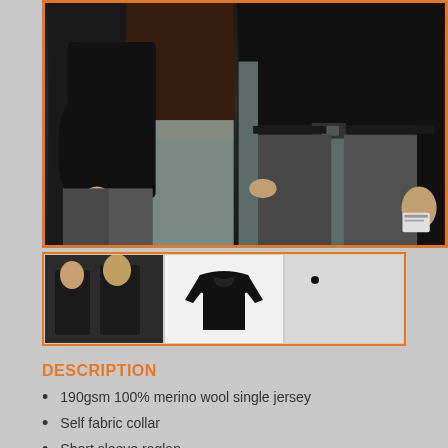[Figure (photo): Main product image showing two people wearing black polo shirts with grey trousers. Left: woman in black short-sleeve top. Right: man in black polo shirt with belt, holding a card.]
[Figure (photo): Thumbnail 1: Two people in black uniforms]
[Figure (photo): Thumbnail 2: Black short-sleeve polo shirt on white background]
[Figure (photo): Thumbnail 3: Small dot/swatch on light grey background]
DESCRIPTION
190gsm 100% merino wool single jersey
Self fabric collar
Short sleeve raglan